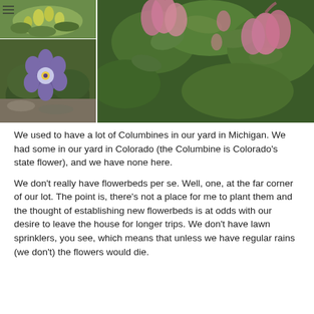[Figure (photo): A collage of columbine flower photos: top-left shows yellow columbine flowers, bottom-left shows purple/blue columbine flowers, and a large right photo shows pink columbine flowers with green foliage.]
We used to have a lot of Columbines in our yard in Michigan. We had some in our yard in Colorado (the Columbine is Colorado's state flower), and we have none here.
We don't really have flowerbeds per se. Well, one, at the far corner of our lot. The point is, there's not a place for me to plant them and the thought of establishing new flowerbeds is at odds with our desire to leave the house for longer trips. We don't have lawn sprinklers, you see, which means that unless we have regular rains (we don't) the flowers would die.